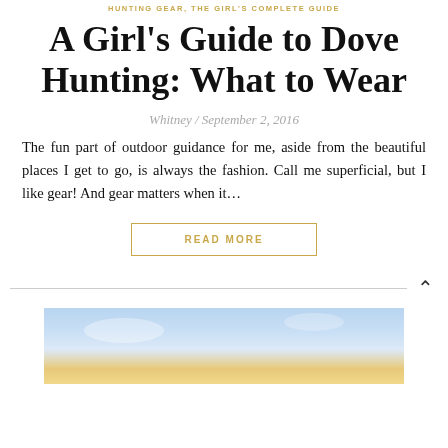HUNTING GEAR, THE GIRL'S COMPLETE GUIDE
A Girl's Guide to Dove Hunting: What to Wear
Whitney / September 2, 2016
The fun part of outdoor guidance for me, aside from the beautiful places I get to go, is always the fashion. Call me superficial, but I like gear! And gear matters when it...
READ MORE
[Figure (photo): Sky with clouds and golden horizon light]